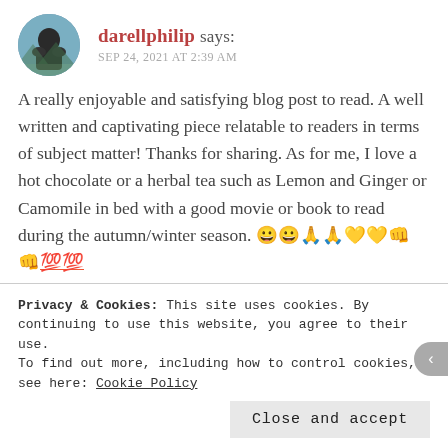darellphilip says: SEP 24, 2021 AT 2:39 AM
A really enjoyable and satisfying blog post to read. A well written and captivating piece relatable to readers in terms of subject matter! Thanks for sharing. As for me, I love a hot chocolate or a herbal tea such as Lemon and Ginger or Camomile in bed with a good movie or book to read during the autumn/winter season. 😀😀🙏🙏💛💛👊👊💯💯
Liked by 1 person
Privacy & Cookies: This site uses cookies. By continuing to use this website, you agree to their use. To find out more, including how to control cookies, see here: Cookie Policy
Close and accept